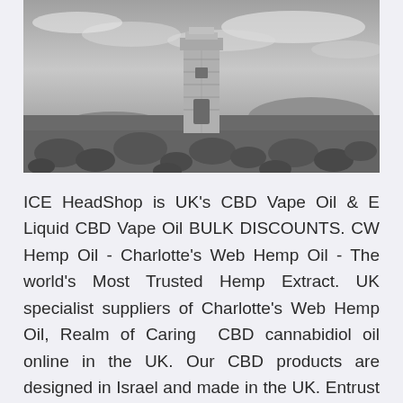[Figure (photo): Black and white photograph of a small stone lighthouse or tower surrounded by large rocks on a flat moorland landscape, with dramatic cloudy sky in the background.]
ICE HeadShop is UK's CBD Vape Oil & E Liquid CBD Vape Oil BULK DISCOUNTS. CW Hemp Oil - Charlotte's Web Hemp Oil - The world's Most Trusted Hemp Extract. UK specialist suppliers of Charlotte's Web Hemp Oil, Realm of Caring  CBD cannabidiol oil online in the UK. Our CBD products are designed in Israel and made in the UK. Entrust your wellness in today's #1 CBD hemp oil brand. Elixinol™ is a leading manufacturer of the highest quality hemp oil extracts. Visit our site to find out more and shop online for hemp and CBD oil